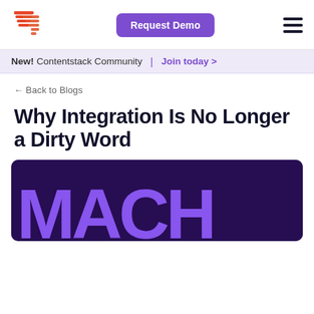[Figure (logo): Contentstack logo: red/orange layered arrow shapes forming an abstract icon]
Request Demo
[Figure (other): Hamburger menu icon (three horizontal lines)]
New! Contentstack Community | Join today >
← Back to Blogs
Why Integration Is No Longer a Dirty Word
[Figure (illustration): Dark purple banner image with large bold purple 'MACH' text]